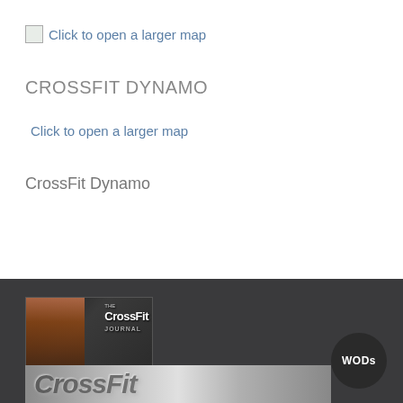[Figure (other): Broken image icon with blue link text 'Click to open a larger map']
CROSSFIT DYNAMO
[Figure (other): Broken image icon with blue link text 'Click to open a larger map']
CrossFit Dynamo
[Figure (photo): CrossFit Journal banner image showing a person lifting weights with 'THE CrosssFit JOURNAL' text overlay]
[Figure (other): WODs circular button/badge on dark background]
[Figure (other): Partial CrossFit logo banner at the bottom, silver/metallic style text partially visible]